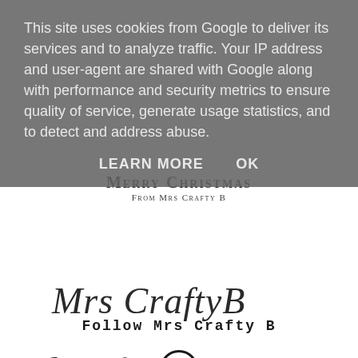This site uses cookies from Google to deliver its services and to analyze traffic. Your IP address and user-agent are shared with Google along with performance and security metrics to ensure quality of service, generate usage statistics, and to detect and address abuse.
LEARN MORE   OK
[Figure (illustration): Christmas card image with Merry Christmas From Mrs Crafty B text]
[Figure (logo): Mrs Crafty B cursive script signature logo]
Follow Mrs Crafty B
[Figure (infographic): Social media icons: Facebook, Twitter, Pinterest, Google+, RSS feed]
Get e-mail updates from Mrs Crafty B